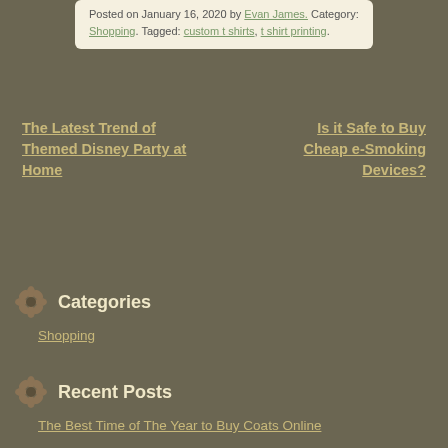Posted on January 16, 2020 by Evan James. Category: Shopping. Tagged: custom t shirts, t shirt printing.
The Latest Trend of Themed Disney Party at Home
Is it Safe to Buy Cheap e-Smoking Devices?
Categories
Shopping
Recent Posts
The Best Time of The Year to Buy Coats Online